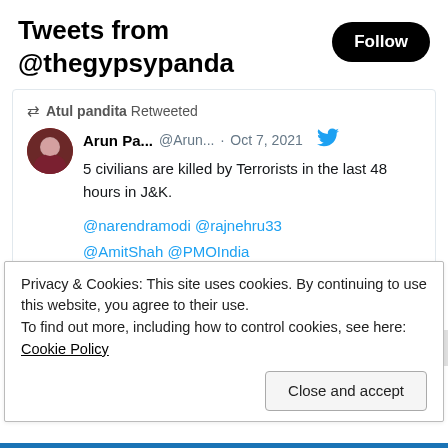Tweets from @thegypsypanda
Atul pandita Retweeted
Arun Pa... @Arun... · Oct 7, 2021
5 civilians are killed by Terrorists in the last 48 hours in J&K.

@narendramodi @rajnehru33
@AmitShah @PMOIndia
@MehboobaMufti @OmarAbdullah
@OfficeOfLGJandK @manojsinha_
@JmuKmrPolice @ChinarcorpsIA
Privacy & Cookies: This site uses cookies. By continuing to use this website, you agree to their use.
To find out more, including how to control cookies, see here: Cookie Policy
Close and accept